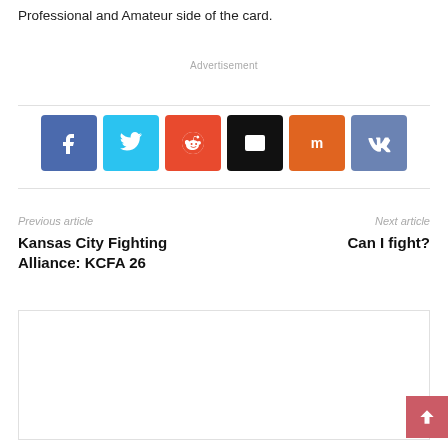Professional and Amateur side of the card.
Advertisement
[Figure (infographic): Social sharing buttons row: Facebook (blue), Twitter (cyan), Reddit (orange-red), Email (black), Mix (dark orange), VK (steel blue)]
Previous article
Next article
Kansas City Fighting Alliance: KCFA 26
Can I fight?
[Figure (other): Empty white box with border, comment/content area at bottom of page]